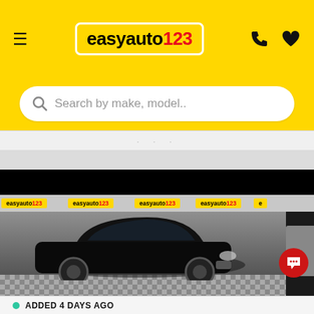easyauto123 — hamburger menu, logo, phone and heart icons
Search by make, model..
[Figure (photo): Black MG ZS SUV in an easyauto123 showroom with easyauto123 branded banners on the wall behind. Vehicle is viewed from a front-left angle. A next/chevron navigation button is visible on the right side.]
ADDED 4 DAYS AGO